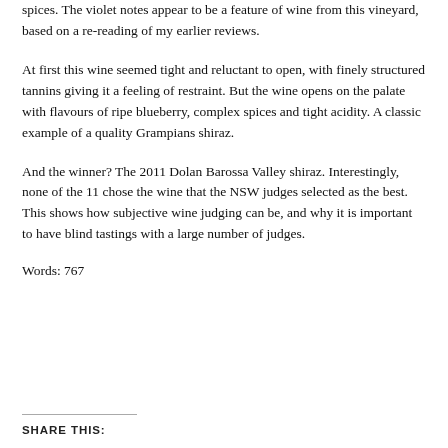spices. The violet notes appear to be a feature of wine from this vineyard, based on a re-reading of my earlier reviews.
At first this wine seemed tight and reluctant to open, with finely structured tannins giving it a feeling of restraint. But the wine opens on the palate with flavours of ripe blueberry, complex spices and tight acidity. A classic example of a quality Grampians shiraz.
And the winner? The 2011 Dolan Barossa Valley shiraz. Interestingly, none of the 11 chose the wine that the NSW judges selected as the best. This shows how subjective wine judging can be, and why it is important to have blind tastings with a large number of judges.
Words: 767
SHARE THIS: